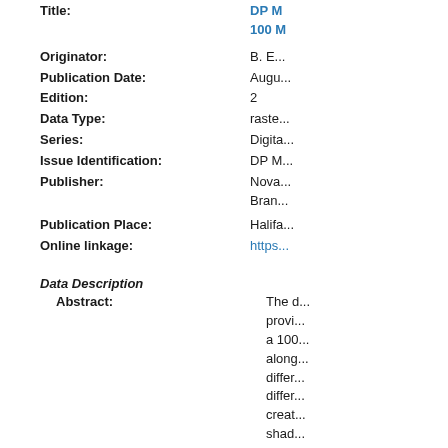Title: DP M... 100 ...
Originator: B. E...
Publication Date: Augu...
Edition: 2
Data Type: raste...
Series: Digita...
Issue Identification: DP M...
Publisher: Nova... Bran...
Publication Place: Halifa...
Online linkage: https...
Data Description
Abstract: The d... provi... a 100... along... differ... differ... creat... shad... Scoti...
Purpose: To pr... mode... numb... stru...
Supplemental Information: Data...